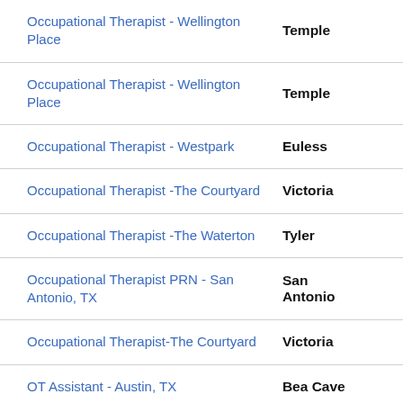| Job Title | Location |
| --- | --- |
| Occupational Therapist - Wellington Place | Temple |
| Occupational Therapist - Wellington Place | Temple |
| Occupational Therapist - Westpark | Euless |
| Occupational Therapist -The Courtyard | Victoria |
| Occupational Therapist -The Waterton | Tyler |
| Occupational Therapist PRN - San Antonio, TX | San Antonio |
| Occupational Therapist-The Courtyard | Victoria |
| OT Assistant - Austin, TX | Bea Cave |